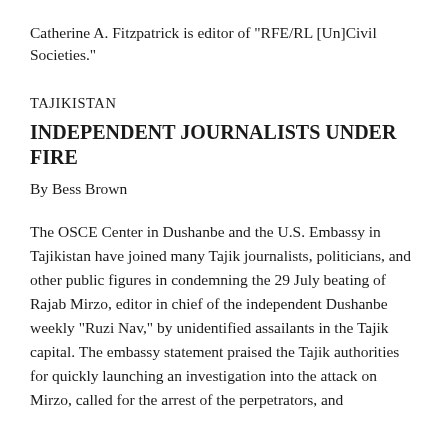Catherine A. Fitzpatrick is editor of "RFE/RL [Un]Civil Societies."
TAJIKISTAN
INDEPENDENT JOURNALISTS UNDER FIRE
By Bess Brown
The OSCE Center in Dushanbe and the U.S. Embassy in Tajikistan have joined many Tajik journalists, politicians, and other public figures in condemning the 29 July beating of Rajab Mirzo, editor in chief of the independent Dushanbe weekly "Ruzi Nav," by unidentified assailants in the Tajik capital. The embassy statement praised the Tajik authorities for quickly launching an investigation into the attack on Mirzo, called for the arrest of the perpetrators, and